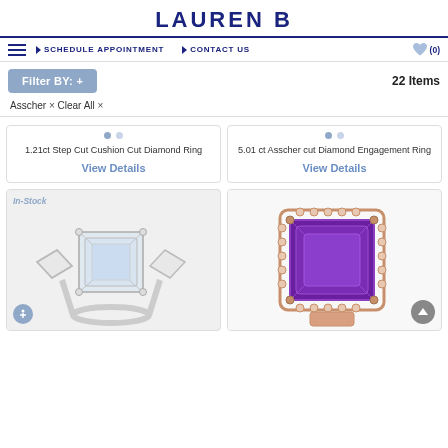LAUREN B
SCHEDULE APPOINTMENT   CONTACT US   (0)
Filter BY: +   22 Items
Asscher × Clear All ×
1.21ct Step Cut Cushion Cut Diamond Ring
View Details
5.01 ct Asscher cut Diamond Engagement Ring
View Details
[Figure (photo): Diamond ring with step-cut center stone and baguette side stones on white gold band. In-Stock label visible.]
[Figure (photo): Purple amethyst asscher-cut stone in rose gold halo setting with diamond surround.]